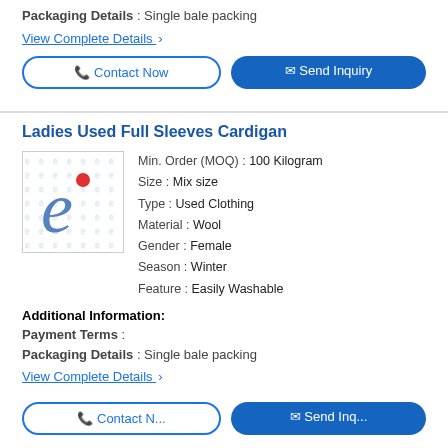Packaging Details : Single bale packing
View Complete Details >
Contact Now
Send Inquiry
Ladies Used Full Sleeves Cardigan
[Figure (logo): Indiamart e-logo watermark placeholder image]
Min. Order (MOQ) : 100 Kilogram
Size : Mix size
Type : Used Clothing
Material : Wool
Gender : Female
Season : Winter
Feature : Easily Washable
Additional Information:
Payment Terms :
Packaging Details : Single bale packing
View Complete Details >
Contact Now
Send Inquiry